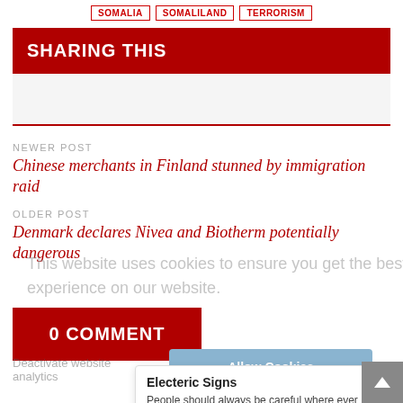SOMALIA
SOMALILAND
TERRORISM
SHARING THIS
NEWER POST
Chinese merchants in Finland stunned by immigration raid
OLDER POST
Denmark declares Nivea and Biotherm potentially dangerous
0 COMMENT
Electeric Signs
People should always be careful where ever or who ever they are